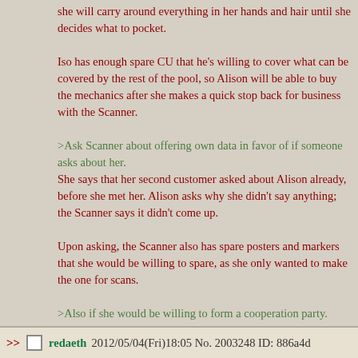she will carry around everything in her hands and hair until she decides what to pocket.

Iso has enough spare CU that he's willing to cover what can be covered by the rest of the pool, so Alison will be able to buy the mechanics after she makes a quick stop back for business with the Scanner.

>Ask Scanner about offering own data in favor of if someone asks about her.
She says that her second customer asked about Alison already, before she met her. Alison asks why she didn't say anything; the Scanner says it didn't come up.

Upon asking, the Scanner also has spare posters and markers that she would be willing to spare, as she only wanted to make the one for scans.

>Also if she would be willing to form a cooperation party.
Scanner would be willing to cooperate within Alison's party, because she saw how Iso and her got out of the same elevator. She asks if that really worked without any problems, and there wasn't any catch?
>> redaeth 2012/05/04(Fri)18:05 No. 2003248 ID: 886a4d